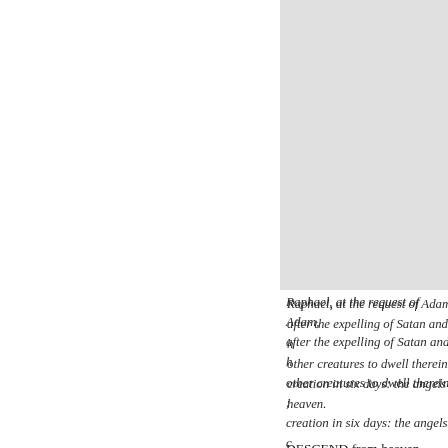Raphael, at the request of Adam, after the expelling of Satan and h other creatures to dwell therein ; creation in six days: the angels c heaven.
DESCEND from heaven, Urania thou art call's, whose voice divin The doubts that in his heart are 60 Following, above th' Olymp Led on, yet sinless, with desire What nearer might concern hi and earth conspicuous first began When, and whereof created, fo Eden, or without was done 65 R